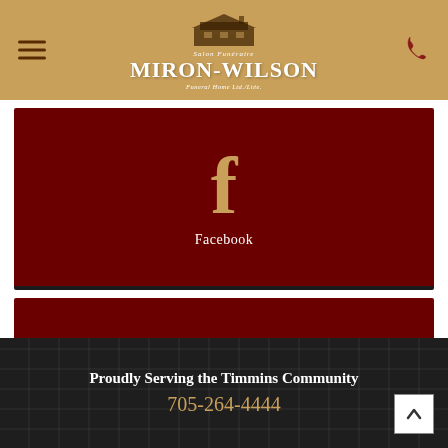[Figure (logo): Miron-Wilson Funeral Home Ltd. logo with building illustration on tan/gold header background, with hamburger menu icon on left and phone icon on right]
[Figure (infographic): Dark red card with gold Facebook 'f' icon and white 'Facebook' text label]
[Figure (infographic): Dark red card with gold flower/daisy icon and white 'Order Flowers' text label]
Proudly Serving the Timmins Community
705-264-4444